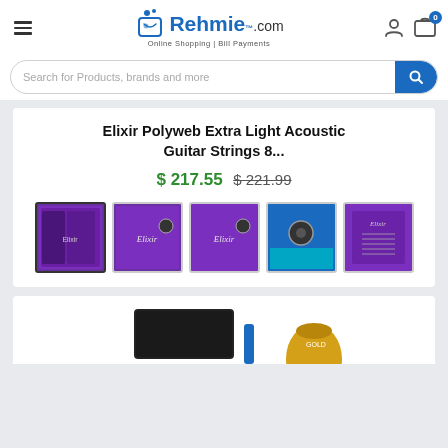Rehmie.com — Online Shopping | Bill Payments
Search for Products, brands and more
Elixir Polyweb Extra Light Acoustic Guitar Strings 8...
$ 217.55  $ 221.99
[Figure (photo): Five product thumbnail images of Elixir guitar string packages (purple and blue packaging)]
[Figure (photo): Partially visible second product card showing bottom portion of another product]